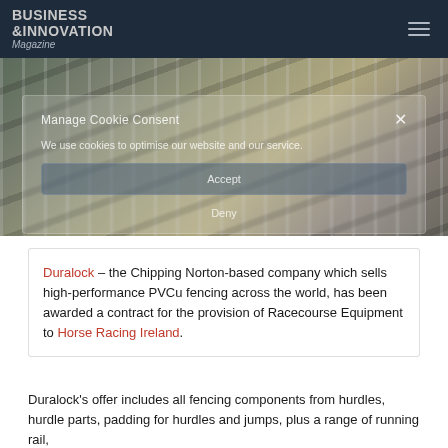BUSINESS & INNOVATION Magazine
[Figure (photo): Outdoor photo of a racecourse with white PVCu fencing rails and shadows on a tarmac/gravel surface, viewed from ground level.]
Manage Cookie Consent

We use cookies to optimise our website and our service.

Accept

Deny
Duralock – the Chipping Norton-based company which sells high-performance PVCu fencing across the world, has been awarded a contract for the provision of Racecourse Equipment to Horse Racing Ireland.
Duralock's offer includes all fencing components from hurdles, hurdle parts, padding for hurdles and jumps, plus a range of running rail,